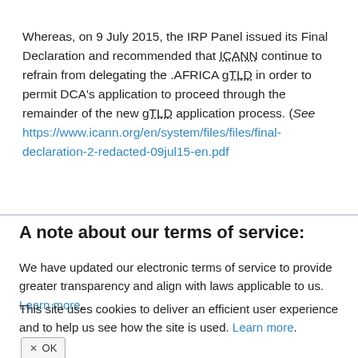Whereas, on 9 July 2015, the IRP Panel issued its Final Declaration and recommended that ICANN continue to refrain from delegating the .AFRICA gTLD in order to permit DCA's application to proceed through the remainder of the new gTLD application process. (See https://www.icann.org/en/system/files/files/final-declaration-2-redacted-09jul15-en.pdf
A note about our terms of service:
We have updated our electronic terms of service to provide greater transparency and align with laws applicable to us. Learn more.
This site uses cookies to deliver an efficient user experience and to help us see how the site is used. Learn more. ✕ OK